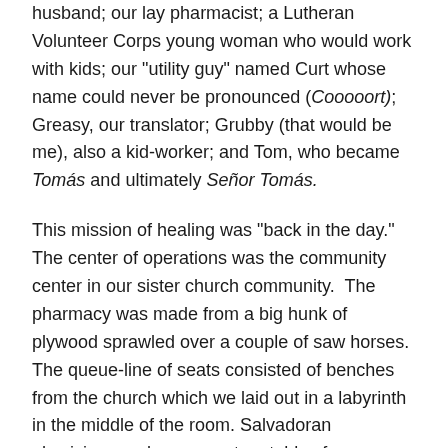husband; our lay pharmacist; a Lutheran Volunteer Corps young woman who would work with kids; our "utility guy" named Curt whose name could never be pronounced (Cooooort); Greasy, our translator; Grubby (that would be me), also a kid-worker; and Tom, who became Tomás and ultimately Señor Tomás.
This mission of healing was "back in the day." The center of operations was the community center in our sister church community. The pharmacy was made from a big hunk of plywood sprawled over a couple of saw horses. The queue-line of seats consisted of benches from the church which we laid out in a labyrinth in the middle of the room. Salvadoran physicians and nurses set up tables for eye exams and triaged all the participants. Gloria gave people numbers and managed the crowd. The kids' area was outside, in an alcove in front of two potties without doors. The exam area had been up-graded from the year before when it consisted of the stage cordoned off by a black plastic curtain, to the back room of the